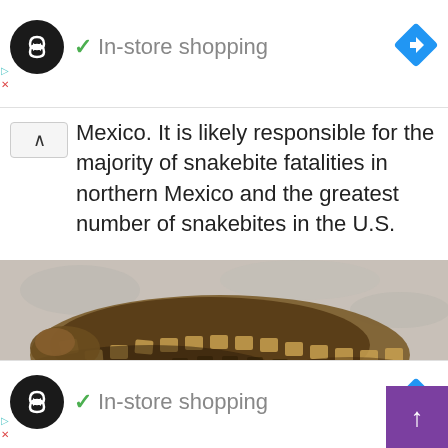[Figure (screenshot): Top advertisement bar with black circle logo, green checkmark and 'In-store shopping' text, blue diamond navigation icon, and small play/close side icons]
Mexico. It is likely responsible for the majority of snakebite fatalities in northern Mexico and the greatest number of snakebites in the U.S.
[Figure (photo): Close-up photograph of a rattlesnake's coiled body showing its distinctive scaled pattern in brown and black tones]
[Figure (screenshot): Bottom advertisement bar with black circle logo, green checkmark and 'In-store shopping' text, blue diamond navigation icon, purple scroll-up button, and small play/close side icons]